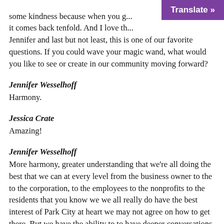some kindness because when you g... it comes back tenfold. And I love th... Jennifer and last but not least, this is one of our favorite questions. If you could wave your magic wand, what would you like to see or create in our community moving forward?
Jennifer Wesselhoff
Harmony.
Jessica Crate
Amazing!
Jennifer Wesselhoff
More harmony, greater understanding that we're all doing the best that we can at every level from the business owner to the to the corporation, to the employees to the nonprofits to the residents that you know we we all really do have the best interest of Park City at heart we may not agree on how to get there. But we have the ability to to have deeper conversations to be respectful and to create great harmony for the greater good of Park City and I'm just really excited to be able to be part of that.